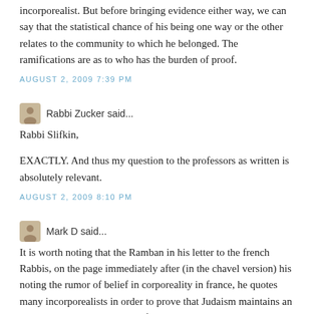incorporealist. But before bringing evidence either way, we can say that the statistical chance of his being one way or the other relates to the community to which he belonged. The ramifications are as to who has the burden of proof.
AUGUST 2, 2009 7:39 PM
Rabbi Zucker said...
Rabbi Slifkin,
EXACTLY. And thus my question to the professors as written is absolutely relevant.
AUGUST 2, 2009 8:10 PM
Mark D said...
It is worth noting that the Ramban in his letter to the french Rabbis, on the page immediately after (in the chavel version) his noting the rumor of belief in corporeality in france, he quotes many incorporealists in order to prove that Judaism maintains an incorporealist position. One of his quotes speaks openly about God’s face and its comparison to man’s face, again this quote is by a clear